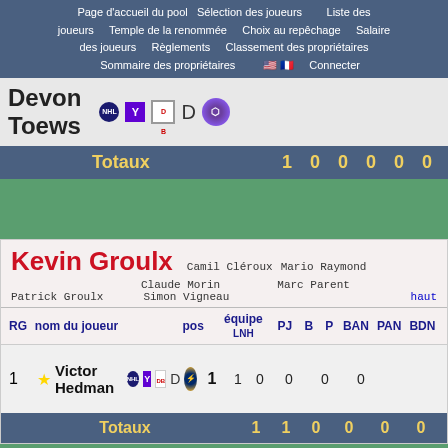Page d'accueil du pool  Sélection des joueurs  Liste des joueurs  Temple de la renommée  Choix au repêchage  Salaire des joueurs  Règlements  Classement des propriétaires  Sommaire des propriétaires  Connecter
Devon Toews  D
| Totaux | 1 | 0 | 0 | 0 | 0 | 0 |
| --- | --- | --- | --- | --- | --- | --- |
Kevin Groulx  Camil Cléroux  Mario Raymond  Claude Morin  Marc Parent  Patrick Groulx  Simon Vigneau  haut
| RG | nom du joueur | pos | équipe LNH | PJ | B | P | BAN | PAN | BDN |
| --- | --- | --- | --- | --- | --- | --- | --- | --- | --- |
| 1 | Victor Hedman  D |  |  | 1 | 1 | 0 | 0 | 0 | 0 |
| Totaux | 1 | 1 | 0 | 0 | 0 | 0 |
| --- | --- | --- | --- | --- | --- | --- |